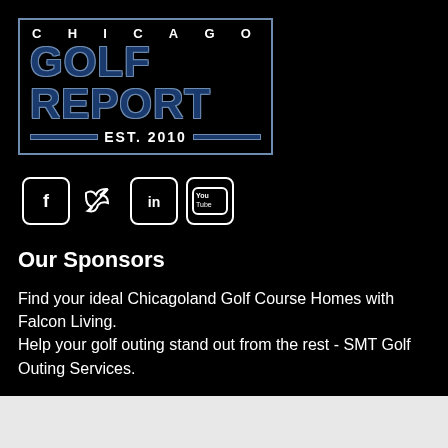[Figure (logo): Chicago Golf Report logo with blue border, CHICAGO in white spaced letters, GOLF REPORT in large dark blue bold text, EST. 2010 with decorative lines]
[Figure (infographic): Row of four social media icons: Facebook, Twitter, LinkedIn, YouTube — white outlined rounded square icons on black background]
Our Sponsors
Find your ideal Chicagoland Golf Course Homes with Falcon Living.
Help your golf outing stand out from the rest - SMT Golf Outing Services.
Advertise with Us